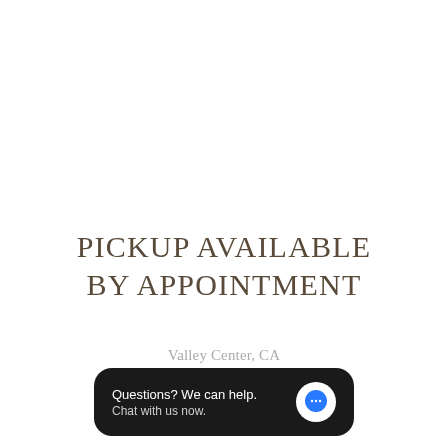PICKUP AVAILABLE BY APPOINTMENT
Valley Center, CA
Questions? We can help. Chat with us now.